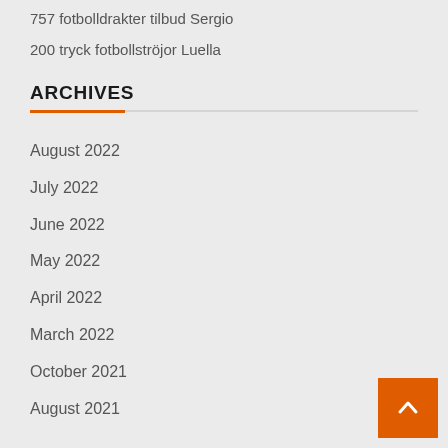757 fotbolldrakter tilbud Sergio
200 tryck fotbollströjor Luella
ARCHIVES
August 2022
July 2022
June 2022
May 2022
April 2022
March 2022
October 2021
August 2021